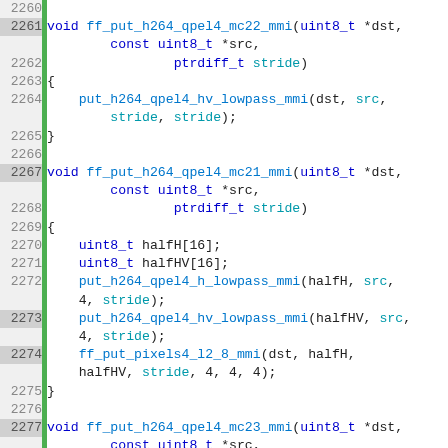[Figure (screenshot): Source code listing showing C function definitions for ff_put_h264_qpel4_mc22_mmi, ff_put_h264_qpel4_mc21_mmi, and ff_put_h264_qpel4_mc23_mmi, with line numbers 2260-2284, green vertical bar indicators, syntax highlighting in blue/teal/black monospace font.]